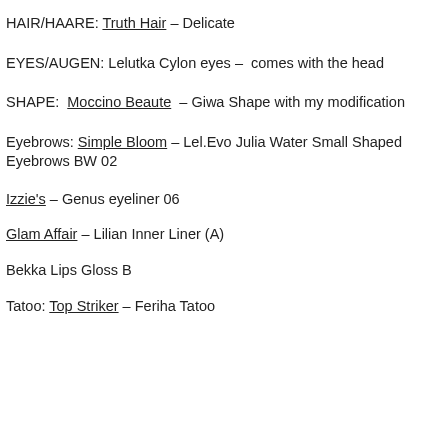HAIR/HAARE: Truth Hair – Delicate
EYES/AUGEN: Lelutka Cylon eyes – comes with the head
SHAPE: Moccino Beaute – Giwa Shape with my modification
Eyebrows: Simple Bloom – Lel.Evo Julia Water Small Shaped Eyebrows BW 02
Izzie's – Genus eyeliner 06
Glam Affair – Lilian Inner Liner (A)
Bekka Lips Gloss B
Tatoo: Top Striker – Feriha Tatoo